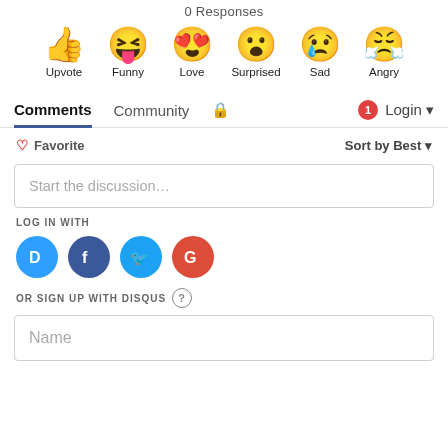0 Responses
[Figure (infographic): Six emoji reaction icons in a row: Upvote (thumbs up), Funny (laughing face with tongue), Love (heart eyes), Surprised (open mouth), Sad (crying face), Angry (steaming angry face), each labeled below.]
Comments  Community  🔒  1  Login ▾
♡ Favorite    Sort by Best ▾
Start the discussion…
LOG IN WITH
[Figure (infographic): Four social login icon circles: Disqus (D, blue speech bubble), Facebook (f, dark blue), Twitter (bird, light blue), Google (G, red)]
OR SIGN UP WITH DISQUS ?
Name